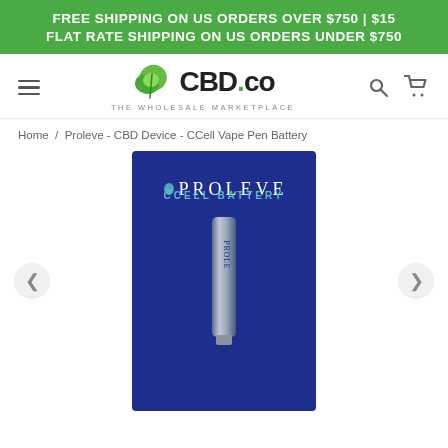FREE SHIPPING ON US ORDERS OVER $750 | $15 FLAT RATE SHIPPING ON US ORDERS UNDER $750
[Figure (logo): CBD.co - The Wholesale Marketplace logo with green leaf icon]
Home / Proleve - CBD Device - CCell Vape Pen Battery
[Figure (photo): Proleve CCell Battery product box - blue background with white PROLEVE text and teal CCELL BATTERY text, with a vape pen battery partially visible at the bottom]